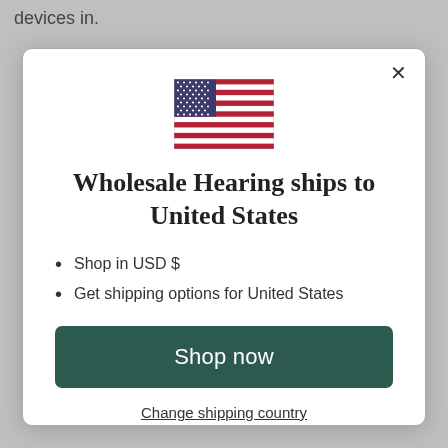devices in.
[Figure (illustration): US flag illustration inside a modal dialog]
Wholesale Hearing ships to United States
Shop in USD $
Get shipping options for United States
Shop now
Change shipping country